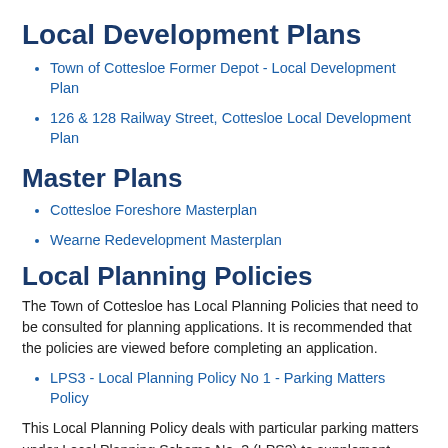Local Development Plans
Town of Cottesloe Former Depot - Local Development Plan
126 & 128 Railway Street, Cottesloe Local Development Plan
Master Plans
Cottesloe Foreshore Masterplan
Wearne Redevelopment Masterplan
Local Planning Policies
The Town of Cottesloe has Local Planning Policies that need to be consulted for planning applications. It is recommended that the policies are viewed before completing an application.
LPS3 - Local Planning Policy No 1 - Parking Matters Policy
This Local Planning Policy deals with particular parking matters under Local Planning Scheme No. 3 (LPS3) to supplement Scheme provisions.
The Scheme contains certain parking provisions that involve